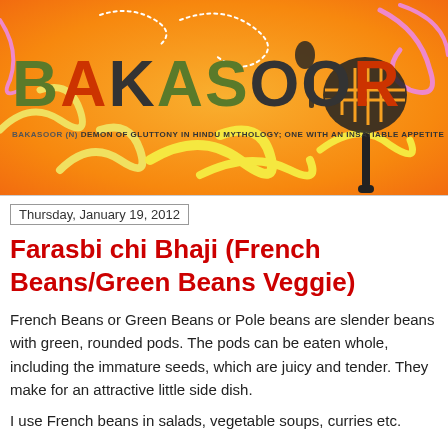[Figure (illustration): Bakasoor food blog header banner with orange gradient background, decorative swirls in yellow, pink, and white, the word BAKASOOR in large stylized letters with cooking utensils, and tagline 'BAKASOOR (N) DEMON OF GLUTTONY IN HINDU MYTHOLOGY; ONE WITH AN INSATIABLE APPETITE']
Thursday, January 19, 2012
Farasbi chi Bhaji (French Beans/Green Beans Veggie)
French Beans or Green Beans or Pole beans are slender beans with green, rounded pods. The pods can be eaten whole, including the immature seeds, which are juicy and tender. They make for an attractive little side dish.
I use French beans in salads, vegetable soups, curries etc.